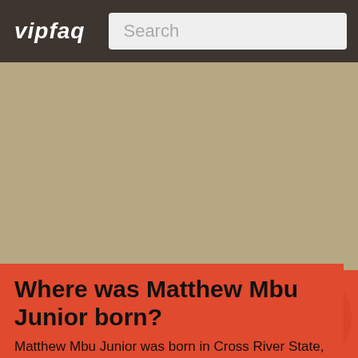vipfaq
Where was Matthew Mbu Junior born?
Matthew Mbu Junior was born in Cross River State, Nigeria...